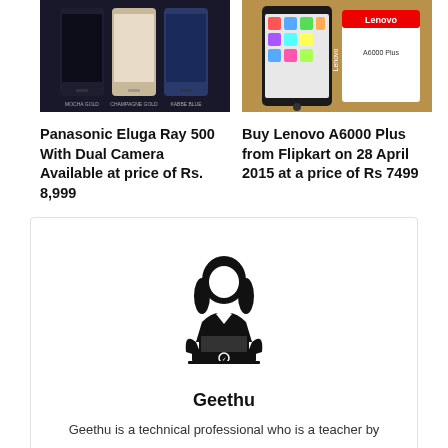[Figure (photo): Photo of Panasonic Eluga Ray 500 phones in multiple colors on dark background]
[Figure (photo): Photo of Lenovo A6000 Plus smartphone with its box on wooden surface]
Panasonic Eluga Ray 500 With Dual Camera Available at price of Rs. 8,999
Buy Lenovo A6000 Plus from Flipkart on 28 April 2015 at a price of Rs 7499
[Figure (illustration): Black silhouette icon of a woman working on a laptop]
Geethu
Geethu is a technical professional who is a teacher by